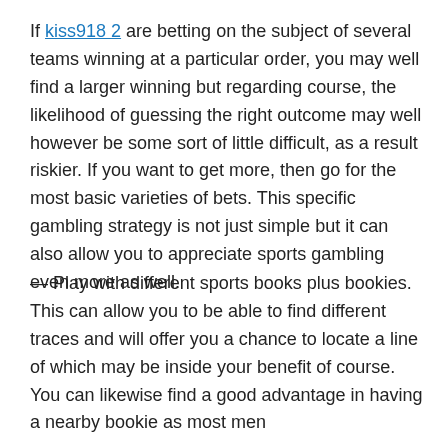If kiss918 2 are betting on the subject of several teams winning at a particular order, you may well find a larger winning but regarding course, the likelihood of guessing the right outcome may well however be some sort of little difficult, as a result riskier. If you want to get more, then go for the most basic varieties of bets. This specific gambling strategy is not just simple but it can also allow you to appreciate sports gambling even more as well.
— Play with different sports books plus bookies. This can allow you to be able to find different traces and will offer you a chance to locate a line of which may be inside your benefit of course. You can likewise find a good advantage in having a nearby bookie as most men